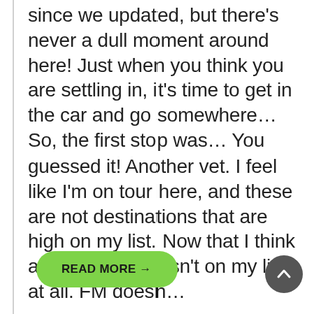since we updated, but there's never a dull moment around here!  Just when you think you are settling in, it's time to get in the car and go somewhere…So, the first stop was… You guessed it!  Another vet.  I feel like I'm on tour here, and these are not destinations that are high on my list.  Now that I think about it, the vet isn't on my list at all.  FM doesn…
READ MORE →